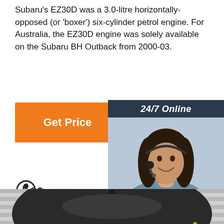Subaru's EZ30D was a 3.0-litre horizontally-opposed (or 'boxer') six-cylinder petrol engine. For Australia, the EZ30D engine was solely available on the Subaru BH Outback from 2000-03.
[Figure (other): Orange 'Get Price' button]
[Figure (other): 24/7 Online advertisement panel with woman wearing headset, 'Click here for free chat!' text and orange QUOTATION button]
[Figure (logo): BEC (欧赛客) logo with CE and certification marks]
[Figure (photo): Product photo showing a dark robotic vacuum cleaner with striped background, and a TOP badge in the bottom right corner]